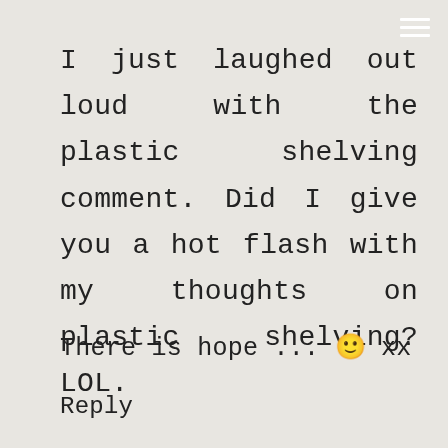I just laughed out loud with the plastic shelving comment. Did I give you a hot flash with my thoughts on plastic shelving? LOL.
There is hope ... 🙂 xx
Reply